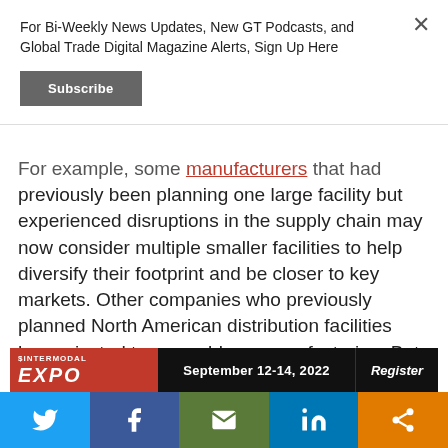For Bi-Weekly News Updates, New GT Podcasts, and Global Trade Digital Magazine Alerts, Sign Up Here
Subscribe
For example, some manufacturers that had previously been planning one large facility but experienced disruptions in the supply chain may now consider multiple smaller facilities to help diversify their footprint and be closer to key markets. Other companies who previously planned North American distribution facilities have pivoted to assembly or manufacturing. But as an overarching observation, many companies that had a clear strategic reason to enter or expand in the U.S. are finding they now have an even stronger argument to do so
[Figure (infographic): Intermodal Expo banner with date September 12-14, 2022 and Register button]
[Figure (infographic): Social share bar with Twitter, Facebook, Email, LinkedIn, and Share buttons]